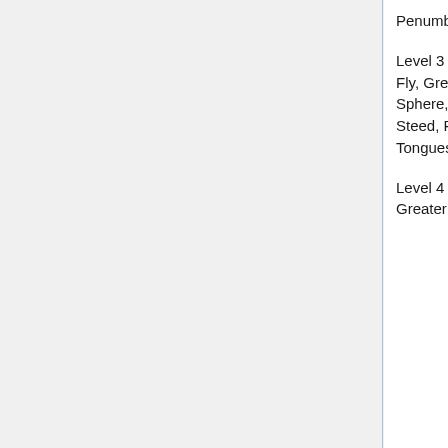Penumbra, Pyrotechnics, Scorching Ray, See Invisibility, Shatter, Web
Level 3 - Blood Biography, Daylight, Deep Slumber, Dispel Magic, Displacement, Fireball, Fly, Greater Magic Weapon, Greater Thunderstomp, Haste, Illusory Script, Invisibility Sphere, Lightning Bolt, Magic Circles Against Evil, Magic Circle Against Good, Phantom Steed, Protection From Energy, Secret Page, Slow, Stinking Cloud, Summon Monster III, Tongues, Twilight Knife, Vampiric Touch, Water Breathing, Wind Wall
Level 4 - Black Tentacles, Dimension Door, Dimensional Anchor, Enervation, FireFall, Greater Invisibility, Minor Creation, Scrying, Shout, Stone Shape, Summon monster IV